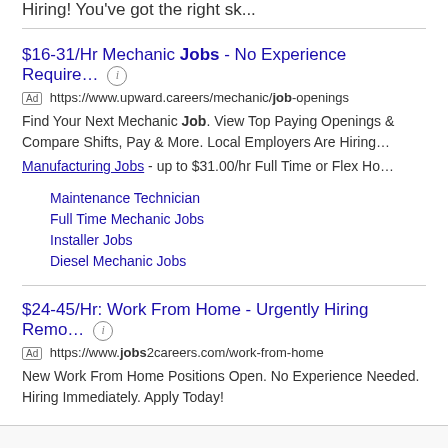GardaWorld - Security Services Security Officer - Now Hiring! You've got the right sk...
$16-31/Hr Mechanic Jobs - No Experience Require…
Ad https://www.upward.careers/mechanic/job-openings
Find Your Next Mechanic Job. View Top Paying Openings & Compare Shifts, Pay & More. Local Employers Are Hiring…
Manufacturing Jobs - up to $31.00/hr Full Time or Flex Ho…
Maintenance Technician
Full Time Mechanic Jobs
Installer Jobs
Diesel Mechanic Jobs
$24-45/Hr: Work From Home - Urgently Hiring Remo…
Ad https://www.jobs2careers.com/work-from-home
New Work From Home Positions Open. No Experience Needed. Hiring Immediately. Apply Today!